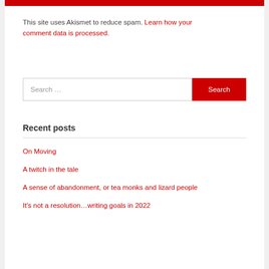[Figure (other): Red horizontal bar at top of page]
This site uses Akismet to reduce spam. Learn how your comment data is processed.
[Figure (other): Search bar with text input field and red Search button]
Recent posts
On Moving
A twitch in the tale
A sense of abandonment, or tea monks and lizard people
It's not a resolution…writing goals in 2022